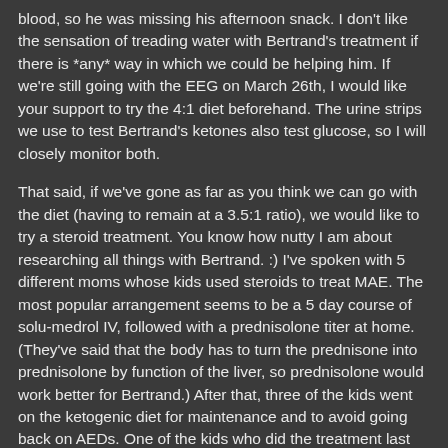blood, so he was missing his afternoon snack. I don't like the sensation of treading water with Bertrand's treatment if there is *any* way in which we could be helping him. If we're still going with the EEG on March 26th, I would like your support to try the 4:1 diet beforehand. The urine strips we use to test Bertrand's ketones also test glucose, so I will closely monitor both.
That said, if we've gone as far as you think we can go with the diet (having to remain at a 3.5:1 ratio), we would like to try a steroid treatment. You know how nutty I am about researching all things with Bertrand. :) I've spoken with 5 different moms whose kids used steroids to treat MAE. The most popular arrangement seems to be a 5 day course of solu-medrol IV, followed with a prednisolone titer at home. (They've said that the body has to turn the prednisone into prednisolone by function of the liver, so prednisolone would work better for Bertrand.) After that, three of the kids went on the ketogenic diet for maintenance and to avoid going back on AEDs. One of the kids who did the treatment last year and didn't do keto afterward just had to go back in this week for a second round of solu-medrol.